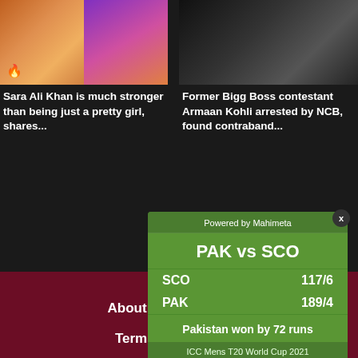[Figure (photo): Two thumbnail images side by side: colorful food/lifestyle photo and woman in pink outfit]
Sara Ali Khan is much stronger than being just a pretty girl, shares...
[Figure (photo): Dark thumbnail showing a man in dark jacket, appears to be arrested]
Former Bigg Boss contestant Armaan Kohli arrested by NCB, found contraband...
About Us
Contact
Terms & Conditions
© 2022 - Bollywood Biz. All Rights Reserved.
[Figure (infographic): Cricket score widget: PAK vs SCO, SCO 117/6, PAK 189/4, Pakistan won by 72 runs, ICC Mens T20 World Cup 2021, Powered by Mahimeta]